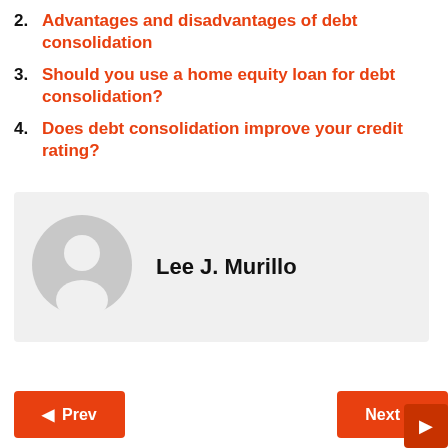2. Advantages and disadvantages of debt consolidation
3. Should you use a home equity loan for debt consolidation?
4. Does debt consolidation improve your credit rating?
[Figure (illustration): Author avatar placeholder - grey circle with white silhouette of a person]
Lee J. Murillo
Prev
Next